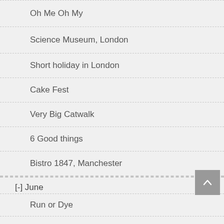Oh Me Oh My
Science Museum, London
Short holiday in London
Cake Fest
Very Big Catwalk
6 Good things
Bistro 1847, Manchester
[-] June
Run or Dye
Victoria Highfield Jewellery Shop, Manchester
Cheshire County Show, part 2